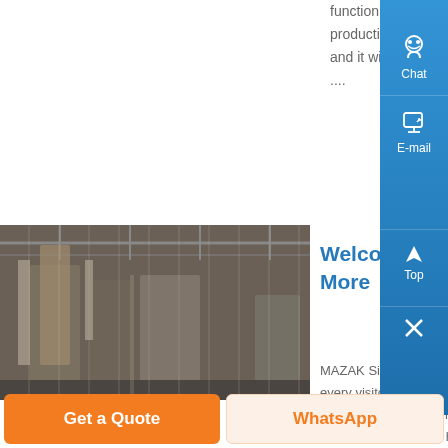function is small in stature and massive in productivity It was born with a Napoleon complex, and it will spend its life working its tail off for your ....
[Figure (photo): Factory/industrial interior with machinery and overhead structure]
Welcome to Mazak - Know More
MAZAK Singapore would like to thank each and every visitor for taking their precious time to visit us during the Industrial Transformation ASIA PACIFIC 2019 It is an honor to have you with us during the exhibition and it would not have been a success without your support...
Get a Quote
WhatsApp